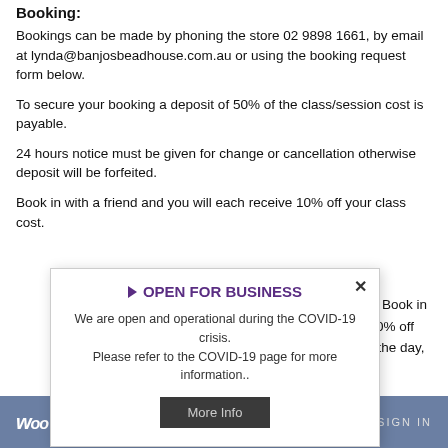Booking:
Bookings can be made by phoning the store 02 9898 1661, by email at lynda@banjosbeadhouse.com.au or using the booking request form below.
To secure your booking a deposit of 50% of the class/session cost is payable.
24 hours notice must be given for change or cancellation otherwise deposit will be forfeited.
Book in with a friend and you will each receive 10% off your class cost.
[Figure (infographic): Modal popup overlay with title 'OPEN FOR BUSINESS', body text 'We are open and operational during the COVID-19 crisis. Please refer to the COVID-19 page for more information..', a 'More Info' button, and a close (x) button. Partially visible background text reads: 'group. Book in', 'eive 10% off', 'de on the day,']
woocommerce logo | SIGN IN